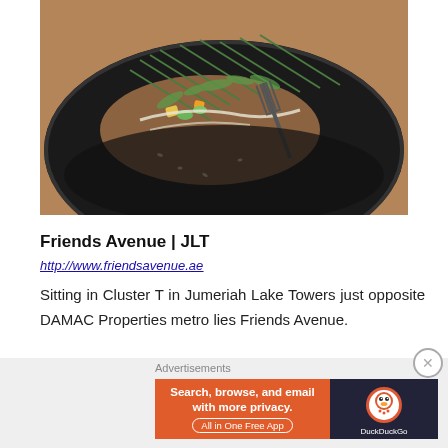[Figure (photo): Close-up photo of a dish on a black plate with green garnishes, vegetables, and a fork visible on a wooden table surface.]
Friends Avenue | JLT
http://www.friendsavenue.ae
Sitting in Cluster T in Jumeriah Lake Towers just opposite DAMAC Properties metro lies Friends Avenue.
Advertisements
[Figure (screenshot): DuckDuckGo advertisement banner: 'Search, browse, and email with more privacy. All in One Free App' with DuckDuckGo logo on dark background.]